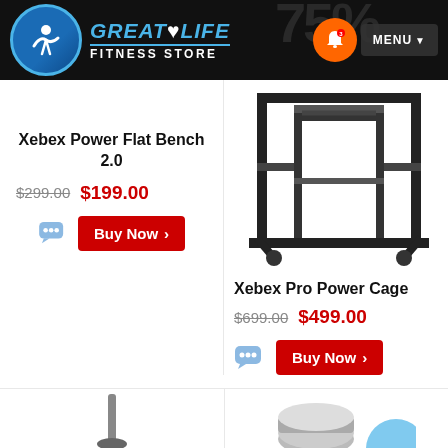[Figure (logo): Great Life Fitness Store logo with blue circle and text]
Xebex Power Flat Bench 2.0
$299.00  $199.00
[Figure (illustration): Buy Now button with chat icon for Xebex Power Flat Bench 2.0]
[Figure (photo): Xebex Pro Power Cage product image showing a metal power rack]
Xebex Pro Power Cage
$699.00  $499.00
[Figure (illustration): Buy Now button with chat icon for Xebex Pro Power Cage]